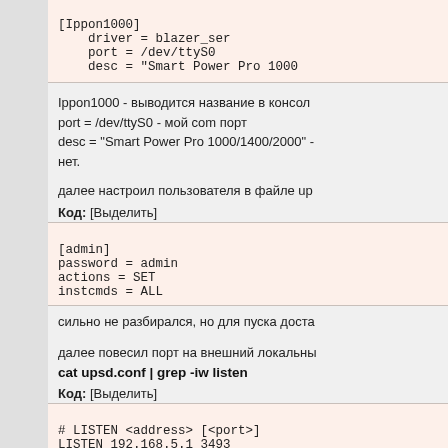[Ippon1000]
    driver = blazer_ser
    port = /dev/ttyS0
    desc = "Smart Power Pro 1000
Ippon1000 - выводится название в консол
port = /dev/ttyS0 - мой com порт
desc = "Smart Power Pro 1000/1400/2000" -
нет.
далее настроил пользователя в файле up
Код: [Выделить]
[admin]
password = admin
actions = SET
instcmds = ALL
сильно не разбирался, но для пуска доста
далее повесил порт на внешний локальны
cat upsd.conf | grep -iw listen
Код: [Выделить]
# LISTEN <address> [<port>]
LISTEN 192.168.5.1 3493
LISTEN 127.0.0.1 3493